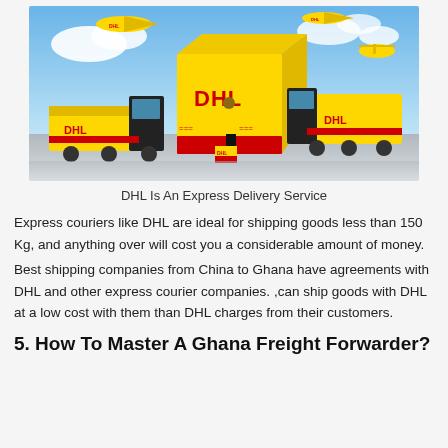[Figure (photo): DHL branded promotional image showing yellow DHL delivery trucks, a large yellow DHL box, yellow DHL aircraft, and a DHL courier employee, with a blue sky and clouds background.]
DHL Is An Express Delivery Service
Express couriers like DHL are ideal for shipping goods less than 150 Kg, and anything over will cost you a considerable amount of money.
Best shipping companies from China to Ghana have agreements with DHL and other express courier companies. ,can ship goods with DHL at a low cost with them than DHL charges from their customers.
5. How To Master A Ghana Freight Forwarder?